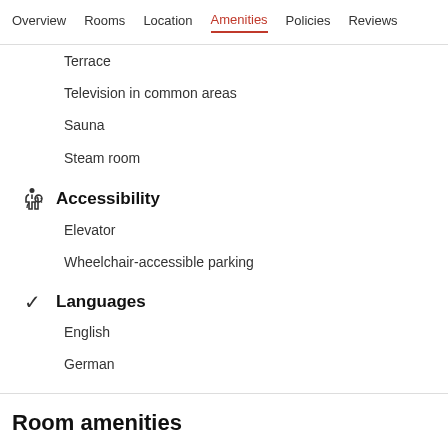Overview  Rooms  Location  Amenities  Policies  Reviews
Terrace
Television in common areas
Sauna
Steam room
Accessibility
Elevator
Wheelchair-accessible parking
Languages
English
German
Room amenities
Be entertained